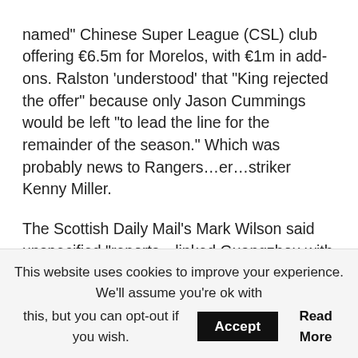named” Chinese Super League (CSL) club offering €6.5m for Morelos, with €1m in add-ons. Ralston ‘understood’ that “King rejected the offer” because only Jason Cummings would be left “to lead the line for the remainder of the season.” Which was probably news to Rangers…er…striker Kenny Miller.
The Scottish Daily Mail’s Mark Wilson said unspecified “reports…linked Guangzhou with an approach.” The Scottish Daily Express’s Scott Burns referenced a “verbal offer” from a CSL club “believed to be Guangzhou.” But ScotSun’s Andy Devlin had to specify “cash-rich” Guangzhou (GZ) Evergrande, rather than Guangzhou R&F. The Record’s back-page splash was
This website uses cookies to improve your experience. We'll assume you're ok with this, but you can opt-out if you wish. Accept Read More